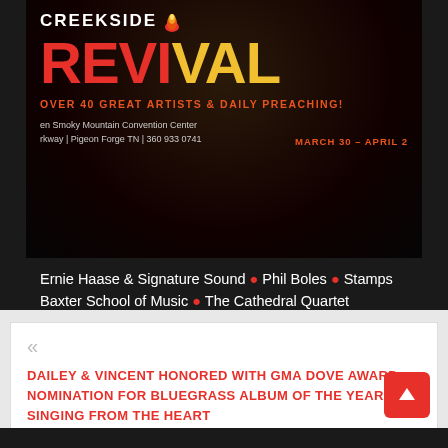[Figure (illustration): Creekside Revival event banner with flame logo, large red and yellow REVIVAL text, orange tagline 'OVER 40 GREAT ARTISTS & DAILY PREACHING!', venue info 'Smoky Mountain Convention Center, Pigeon Forge TN, 360 933 0741', date 'MARCH 30 - APRIL 2' on dark/black background]
Ernie Haase & Signature Sound • Phil Boles • Stamps Baxter School of Music • The Cathedral Quartet
« DAILEY & VINCENT HONORED WITH GMA DOVE AWARD NOMINATION FOR BLUEGRASS ALBUM OF THE YEAR FOR SINGING FROM THE HEART
GOODWINS RELEASE NEW RADIO SINGLE »